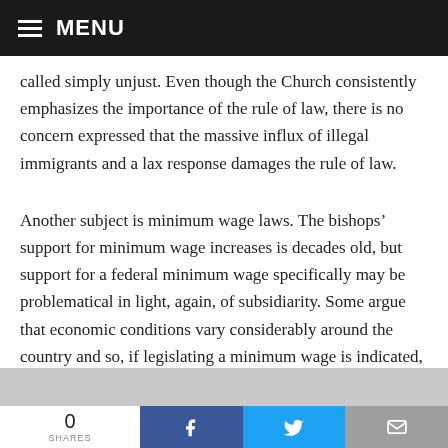MENU
called simply unjust. Even though the Church consistently emphasizes the importance of the rule of law, there is no concern expressed that the massive influx of illegal immigrants and a lax response damages the rule of law.
Another subject is minimum wage laws. The bishops’ support for minimum wage increases is decades old, but support for a federal minimum wage specifically may be problematical in light, again, of subsidiarity. Some argue that economic conditions vary considerably around the country and so, if legislating a minimum wage is indicated,
0 SHARES